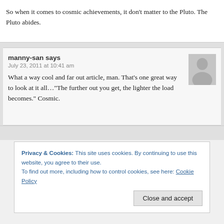So when it comes to cosmic achievements, it don't matter to the Pluto. The Pluto abides.
manny-san says
July 23, 2011 at 10:41 am
What a way cool and far out article, man. That’s one great way to look at it all…“The further out you get, the lighter the load becomes.” Cosmic.
Privacy & Cookies: This site uses cookies. By continuing to use this website, you agree to their use.
To find out more, including how to control cookies, see here: Cookie Policy
Close and accept